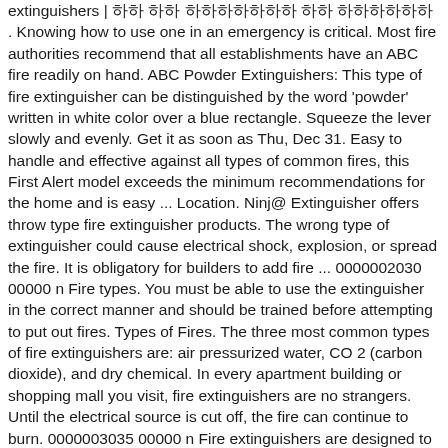extinguishers | 하하 하하 하하하하하하하 하하 하하하하하하 . Knowing how to use one in an emergency is critical. Most fire authorities recommend that all establishments have an ABC fire readily on hand. ABC Powder Extinguishers: This type of fire extinguisher can be distinguished by the word 'powder' written in white color over a blue rectangle. Squeeze the lever slowly and evenly. Get it as soon as Thu, Dec 31. Easy to handle and effective against all types of common fires, this First Alert model exceeds the minimum recommendations for the home and is easy ... Location. Ninj@ Extinguisher offers throw type fire extinguisher products. The wrong type of extinguisher could cause electrical shock, explosion, or spread the fire. It is obligatory for builders to add fire ... 0000002030 00000 n Fire types. You must be able to use the extinguisher in the correct manner and should be trained before attempting to put out fires. Types of Fires. The three most common types of fire extinguishers are: air pressurized water, CO 2 (carbon dioxide), and dry chemical. In every apartment building or shopping mall you visit, fire extinguishers are no strangers. Until the electrical source is cut off, the fire can continue to burn. 0000003035 00000 n Fire extinguishers are designed to tackle specific types of fire. Knowing the different fire extinguisher uses are an important part of an overall fire response plan. Most of the types operate using the P.A.S.S. 0000001613 00000 n The three most common types of fire extinguishers are: air pressurized water, CO 2 (carbon dioxide), and dry chemical. Kidde 466112-01 Rechargeable Multi-Purpose Dry Chemical Fire Extinguisher, ABC Type ...